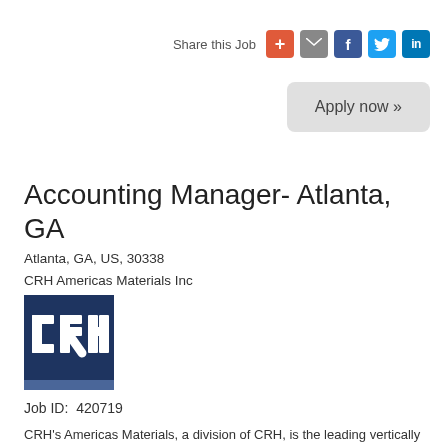Share this Job
Apply now »
Accounting Manager- Atlanta, GA
Atlanta, GA, US, 30338
CRH Americas Materials Inc
[Figure (logo): CRH company logo — dark navy blue square with white columnar letters forming CRH]
Job ID:  420719
CRH's Americas Materials, a division of CRH, is the leading vertically integrated supplier of aggregates, cement, asphalt, readymixed concrete and paving and construction services in North America.  Our operations span North America with 24,100 employees at close to 1,300 locations in 44 US States and 6 Canadian provinces.